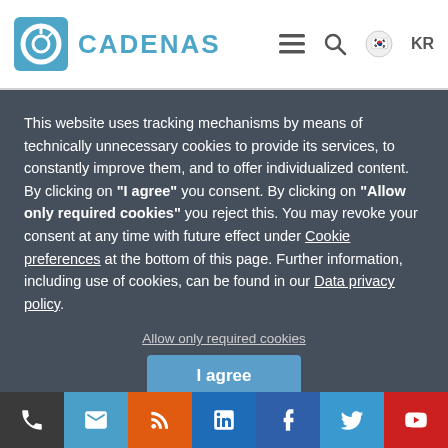[Figure (logo): CADENAS logo with blue circular icon and text]
This website uses tracking mechanisms by means of technically unnecessary cookies to provide its services, to constantly improve them, and to offer individualized content. By clicking on "I agree" you consent. By clicking on "Allow only required cookies" you reject this. You may revoke your consent at any time with future effect under Cookie preferences at the bottom of this page. Further information, including use of cookies, can be found in our Data privacy policy.
Allow only required cookies
I agree
개인정보
Data privacy policy
[Figure (screenshot): Social media footer bar with phone, email, RSS, LinkedIn, Facebook, Twitter, YouTube icons]